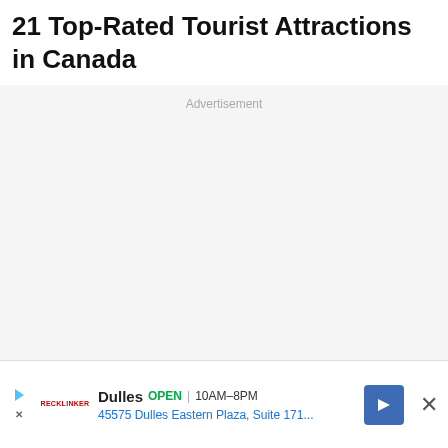21 Top-Rated Tourist Attractions in Canada
Advertisement
[Figure (other): Advertisement banner for Dulles: OPEN 10AM–8PM, 45575 Dulles Eastern Plaza, Suite 171...]